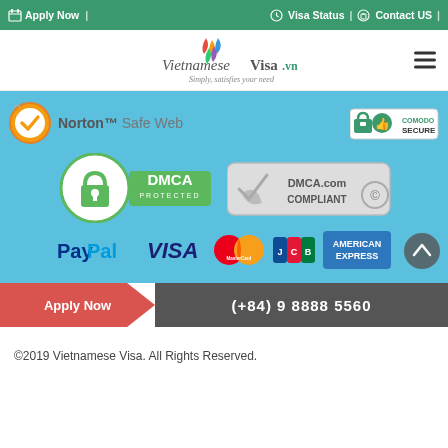Apply Now | Visa Status | Contact US
[Figure (logo): VietnameseVisa.vn logo - Simply, satisfies your need]
[Figure (infographic): Norton Safe Web security badge and Comodo Secure badge]
[Figure (infographic): DMCA Protected badge and DMCA.com Compliant badge]
[Figure (infographic): Payment logos: PayPal, VISA, MasterCard, JCB, American Express]
Apply Now
(+84) 9 8888 5560
©2019 Vietnamese Visa. All Rights Reserved.